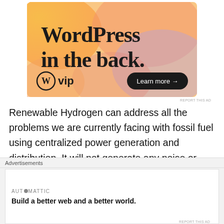[Figure (screenshot): WordPress VIP advertisement banner with orange/pink gradient background, WordPress logo, text 'WordPress in the back.' and 'Learn more →' button]
REPORT THIS AD
Renewable Hydrogen can address all the problems we are currently facing with fossil fuel using centralized power generation and distribution. It will not generate any noise or create any pollution to the environment. It does not need large amount of water. With increasing efficiency of solar panels coming into the market the cost of renewable Hydrogen power will become competitive to grid power.
Advertisements
[Figure (screenshot): Automattic advertisement: 'Build a better web and a better world.']